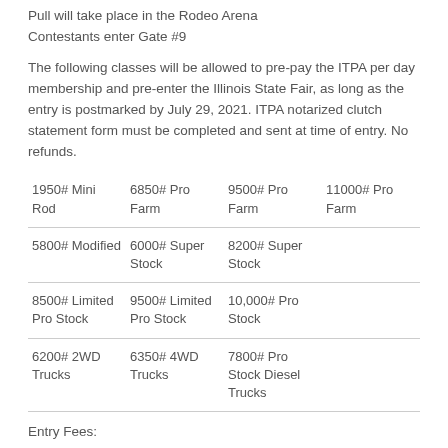Pull will take place in the Rodeo Arena
Contestants enter Gate #9
The following classes will be allowed to pre-pay the ITPA per day membership and pre-enter the Illinois State Fair, as long as the entry is postmarked by July 29, 2021. ITPA notarized clutch statement form must be completed and sent at time of entry. No refunds.
| 1950# Mini Rod | 6850# Pro Farm | 9500# Pro Farm | 11000# Pro Farm |
| 5800# Modified | 6000# Super Stock | 8200# Super Stock |  |
| 8500# Limited Pro Stock | 9500# Limited Pro Stock | 10,000# Pro Stock |  |
| 6200# 2WD Trucks | 6350# 4WD Trucks | 7800# Pro Stock Diesel Trucks |  |
Entry Fees:
1950# Mini Rod, 6850# Pro Farm, 9500# Pro Farm, 11000# Pro Farm $__.__